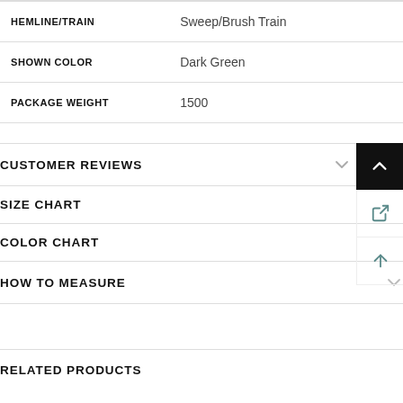| Attribute | Value |
| --- | --- |
| HEMLINE/TRAIN | Sweep/Brush Train |
| SHOWN COLOR | Dark Green |
| PACKAGE WEIGHT | 1500 |
CUSTOMER REVIEWS
SIZE CHART
COLOR CHART
HOW TO MEASURE
RELATED PRODUCTS